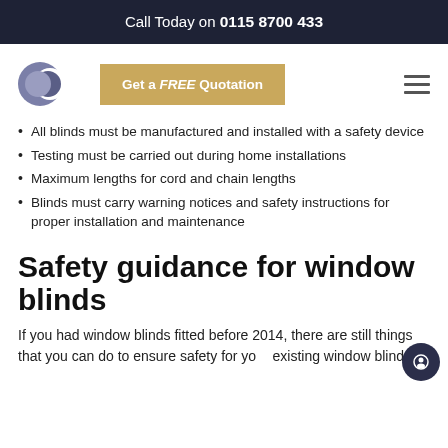Call Today on 0115 8700 433
[Figure (logo): Circular logo with overlapping dark blue/grey semicircles]
Get a FREE Quotation
All blinds must be manufactured and installed with a safety device
Testing must be carried out during home installations
Maximum lengths for cord and chain lengths
Blinds must carry warning notices and safety instructions for proper installation and maintenance
Safety guidance for window blinds
If you had window blinds fitted before 2014, there are still things that you can do to ensure safety for your existing window blinds: